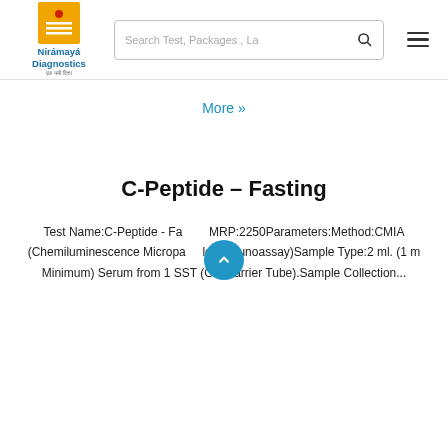Nirámayá Diagnostics — Search Test, Packages, La
More »
C-Peptide – Fasting
Test Name:C-Peptide - Fasting MRP:2250Parameters:Method:CMIA (Chemiluminescence Microparticle Immunoassay)Sample Type:2 ml. (1 m Minimum) Serum from 1 SST (Gel Barrier Tube).Sample Collection...